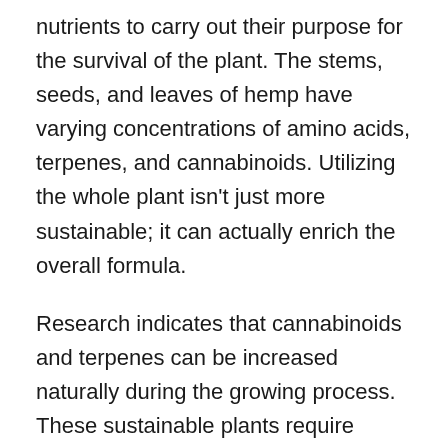nutrients to carry out their purpose for the survival of the plant. The stems, seeds, and leaves of hemp have varying concentrations of amino acids, terpenes, and cannabinoids. Utilizing the whole plant isn't just more sustainable; it can actually enrich the overall formula.
Research indicates that cannabinoids and terpenes can be increased naturally during the growing process. These sustainable plants require excess light in order to up their cannabinoid counts. However, thanks to federal laws, these practices can also make choosing a CBD company more difficult.
Opt for a CBD company or brand who works with farmers which are Farm Bill compliant and cultivate phytocannabinoid-rich hemp. The best way to check for this is to always ask for or review the lab test or certificate of analysis (COA) for each